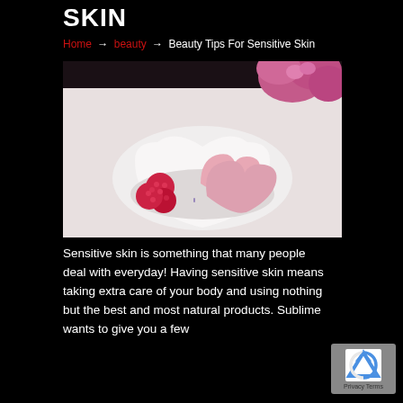Skin
Home → beauty → Beauty Tips For Sensitive Skin
[Figure (photo): Heart-shaped white bowl containing pink heart-shaped soap, raspberries, and salt/sugar crystals, with pink hydrangea flowers in the background on a white surface.]
Sensitive skin is something that many people deal with everyday! Having sensitive skin means taking extra care of your body and using nothing but the best and most natural products. Sublime wants to give you a few